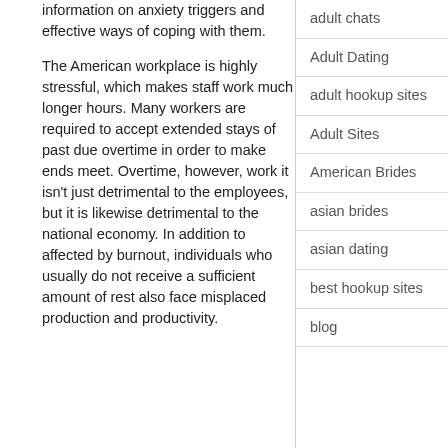information on anxiety triggers and effective ways of coping with them.
The American workplace is highly stressful, which makes staff work much longer hours. Many workers are required to accept extended stays of past due overtime in order to make ends meet. Overtime, however, work it isn't just detrimental to the employees, but it is likewise detrimental to the national economy. In addition to affected by burnout, individuals who usually do not receive a sufficient amount of rest also face misplaced production and productivity.
adult chats
Adult Dating
adult hookup sites
Adult Sites
American Brides
asian brides
asian dating
best hookup sites
blog